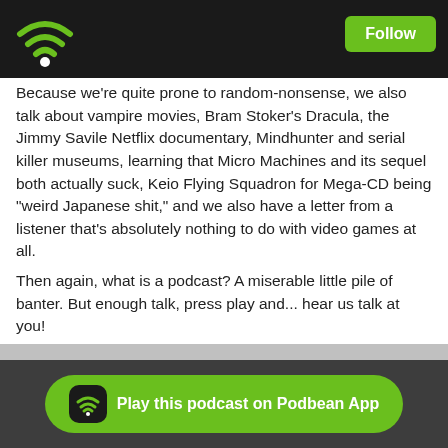Follow
Because we're quite prone to random-nonsense, we also talk about vampire movies, Bram Stoker's Dracula, the Jimmy Savile Netflix documentary, Mindhunter and serial killer museums, learning that Micro Machines and its sequel both actually suck, Keio Flying Squadron for Mega-CD being "weird Japanese shit," and we also have a letter from a listener that's absolutely nothing to do with video games at all.
Then again, what is a podcast? A miserable little pile of banter. But enough talk, press play and... hear us talk at you!
Likes   Share   Download(44)
Play this podcast on Podbean App